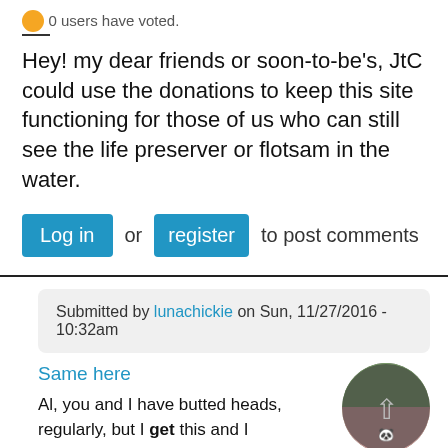0 users have voted.
Hey! my dear friends or soon-to-be's, JtC could use the donations to keep this site functioning for those of us who can still see the life preserver or flotsam in the water.
Log in or register to post comments
Submitted by lunachickie on Sun, 11/27/2016 - 10:32am
Same here
Al, you and I have butted heads, regularly, but I get this and I
[Figure (photo): Circular avatar image showing a profile photo, dark circular overlay with an arrow icon visible]